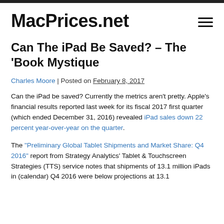MacPrices.net
Can The iPad Be Saved? – The ‘Book Mystique
Charles Moore | Posted on February 8, 2017
Can the iPad be saved? Currently the metrics aren’t pretty. Apple’s financial results reported last week for its fiscal 2017 first quarter (which ended December 31, 2016) revealed iPad sales down 22 percent year-over-year on the quarter.
The “Preliminary Global Tablet Shipments and Market Share: Q4 2016” report from Strategy Analytics’ Tablet & Touchscreen Strategies (TTS) service notes that shipments of 13.1 million iPads in (calendar) Q4 2016 were below projections at 13.1